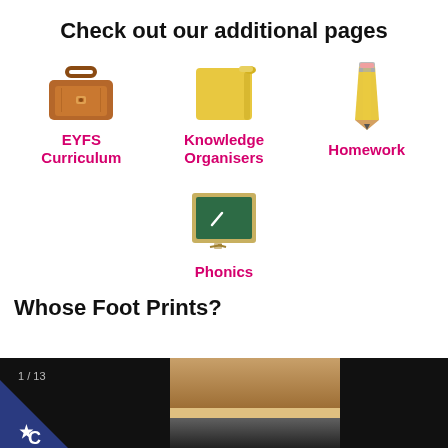Check out our additional pages
[Figure (illustration): Brown briefcase/satchel icon]
EYFS Curriculum
[Figure (illustration): Yellow folder/notepad icon]
Knowledge Organisers
[Figure (illustration): Yellow pencil icon]
Homework
[Figure (illustration): Green chalkboard/blackboard icon]
Phonics
Whose Foot Prints?
[Figure (photo): Slideshow image strip showing 1/13, a wooden baseboard/floor photo, and dark areas. A blue and white star logo badge is in the bottom left corner.]